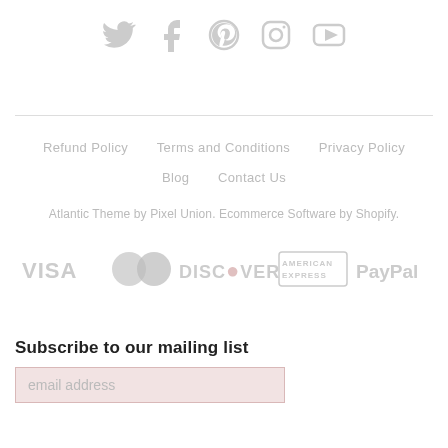[Figure (other): Social media icons: Twitter, Facebook, Pinterest, Instagram, YouTube — all in light gray]
Refund Policy   Terms and Conditions   Privacy Policy
Blog   Contact Us
Atlantic Theme by Pixel Union. Ecommerce Software by Shopify.
[Figure (other): Payment method logos: VISA, Mastercard, DISCOVER, American Express, PayPal — all in light gray]
Subscribe to our mailing list
email address